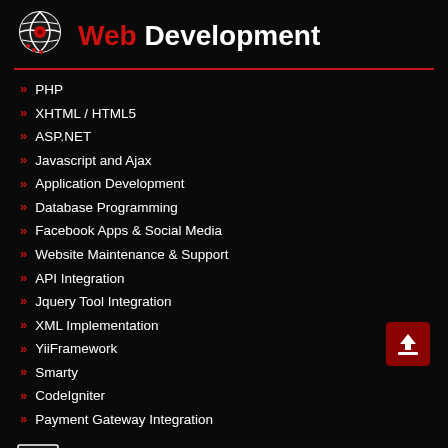Web Development
PHP
XHTML / HTML5
ASP.NET
Javascript and Ajax
Application Development
Database Programming
Facebook Apps & Social Media
Website Maintenance & Support
API Integration
Jquery Tool Integration
XML Implementation
YiiFramework
Smarty
CodeIgniter
Payment Gateway Integration
Web Design
PSD to XHTML
CSS